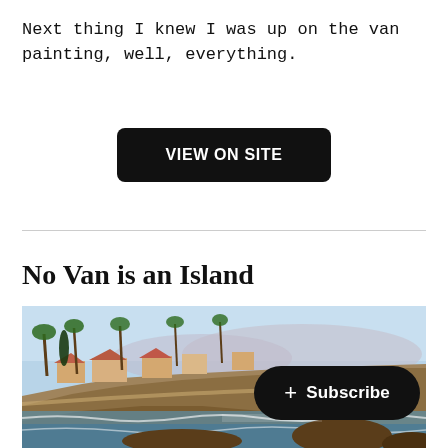Next thing I knew I was up on the van painting, well, everything.
VIEW ON SITE
No Van is an Island
[Figure (photo): A painting of a coastal cliff scene with palm trees, houses, and ocean waves crashing on rocky shores under a blue sky.]
+ Subscribe